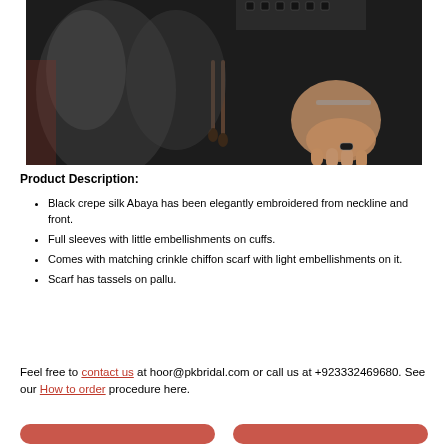[Figure (photo): Close-up photo of a person wearing a black crepe silk Abaya with embroidery and tassels, holding their side with one hand showing a ring, dark clothing with decorative elements visible at neckline and cuffs.]
Product Description:
Black crepe silk Abaya has been elegantly embroidered from neckline and front.
Full sleeves with little embellishments on cuffs.
Comes with matching crinkle chiffon scarf with light embellishments on it.
Scarf has tassels on pallu.
Feel free to contact us at hoor@pkbridal.com or call us at +923332469680. See our How to order procedure here.